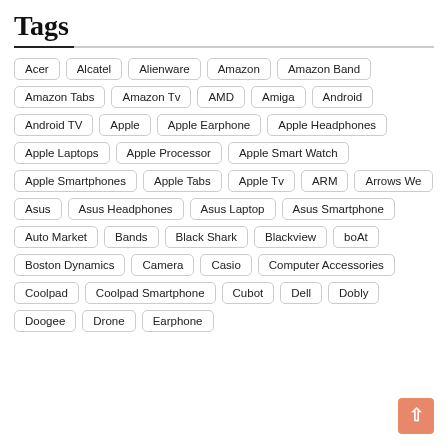Tags
Acer
Alcatel
Alienware
Amazon
Amazon Band
Amazon Tabs
Amazon Tv
AMD
Amiga
Android
Android TV
Apple
Apple Earphone
Apple Headphones
Apple Laptops
Apple Processor
Apple Smart Watch
Apple Smartphones
Apple Tabs
Apple Tv
ARM
Arrows We
Asus
Asus Headphones
Asus Laptop
Asus Smartphone
Auto Market
Bands
Black Shark
Blackview
boAt
Boston Dynamics
Camera
Casio
Computer Accessories
Coolpad
Coolpad Smartphone
Cubot
Dell
Dobly
Doogee
Drone
Earphone